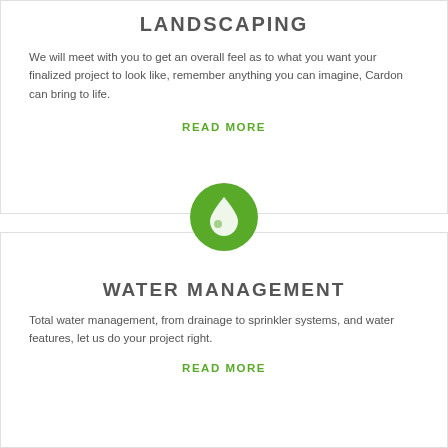LANDSCAPING
We will meet with you to get an overall feel as to what you want your finalized project to look like, remember anything you can imagine, Cardon can bring to life.
READ MORE
[Figure (illustration): Green circle with white water drop icon]
WATER MANAGEMENT
Total water management, from drainage to sprinkler systems, and water features, let us do your project right.
READ MORE